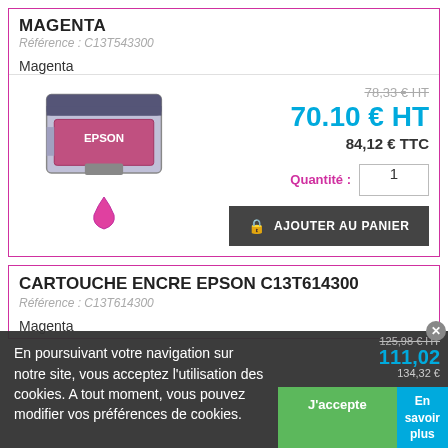MAGENTA
Référence : C13T543300
Magenta
[Figure (photo): Epson magenta ink cartridge with magenta ink drop below]
78,33 € HT
70.10 € HT
84,12 € TTC
Quantité : 1
AJOUTER AU PANIER
CARTOUCHE ENCRE EPSON C13T614300
Référence : C13T614300
Magenta
En poursuivant votre navigation sur notre site, vous acceptez l'utilisation des cookies. A tout moment, vous pouvez modifier vos préférences de cookies.
125,98 € HT
111,02
134,32 €
J'accepte
En savoir plus